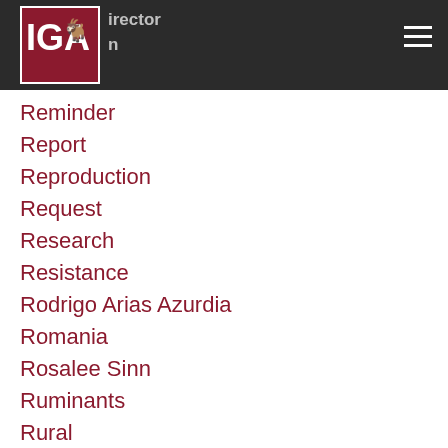IGA - International Goat Association
Reminder
Report
Reproduction
Request
Research
Resistance
Rodrigo Arias Azurdia
Romania
Rosalee Sinn
Ruminants
Rural
Saanen
Safety
Salmonella
Sandor Kukovics
Sándor Kukovics
Sándor Kukovics